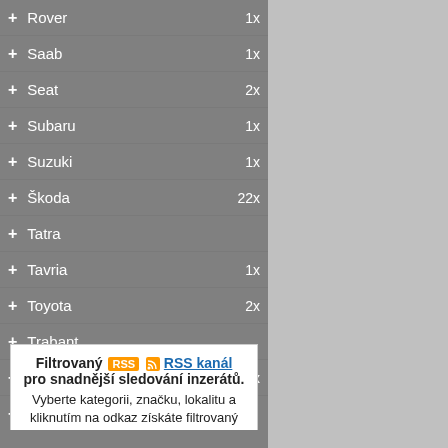+ Rover 1x
+ Saab 1x
+ Seat 2x
+ Subaru 1x
+ Suzuki 1x
+ Škoda 22x
+ Tatra
+ Tavria 1x
+ Toyota 2x
+ Trabant
+ Volkswagen 6x
+ Volvo
+ Wartburg
+ Yugo 1x
Ostatní značky 67x
Filtrovaný RSS RSS kanál pro snadnější sledování inzerátů. Vyberte kategorii, značku, lokalitu a kliknutím na odkaz získáte filtrovaný RSS kanál pro Vaši čtečku.